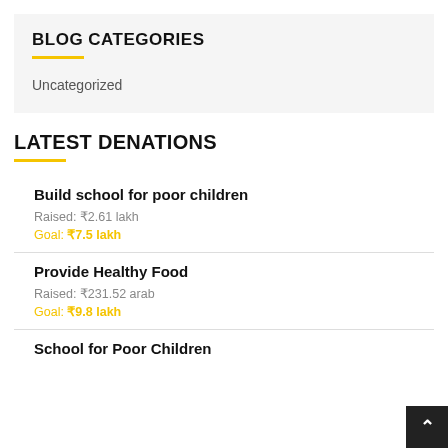BLOG CATEGORIES
Uncategorized
LATEST DENATIONS
Build school for poor children
Raised: ₹2.61 lakh
Goal: ₹7.5 lakh
Provide Healthy Food
Raised: ₹231.52 arab
Goal: ₹9.8 lakh
School for Poor Children